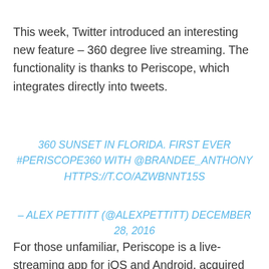This week, Twitter introduced an interesting new feature – 360 degree live streaming. The functionality is thanks to Periscope, which integrates directly into tweets.
360 SUNSET IN FLORIDA. FIRST EVER #PERISCOPE360 WITH @BRANDEE_ANTHONY HTTPS://T.CO/AZWBNNT15S
– ALEX PETTITT (@ALEXPETTITT) DECEMBER 28, 2016
For those unfamiliar, Periscope is a live-streaming app for iOS and Android, acquired by Twitter before